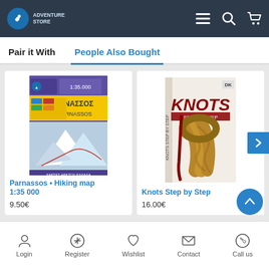Adventure-related e-commerce website header with logo, menu, search, and cart icons
Pair it With | People Also Bought
[Figure (screenshot): Product image of Parnassos hiking map 1:35000 with mountain imagery]
Parnassos • Hiking map 1:35 000
9.50€
[Figure (screenshot): Product image of Knots Step by Step book showing a rope knot on cover]
Knots Step by Step
16.00€
Login | Register | Wishlist | Contact | Call us